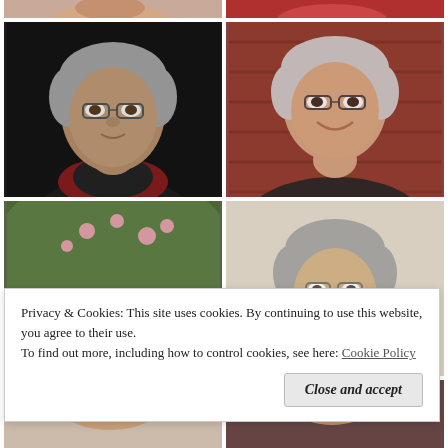[Figure (photo): Grid of six portrait photos of women, arranged in two columns. Top row shows two partially cropped heads. Middle rows show: left - older woman with gray hair and glasses against dark background; right - smiling woman with short gray hair against red barn wall. Second middle row: left - two younger women outdoors near flowering tree; right - older woman with gray hair and glasses against beige background. Bottom row: two partially cropped figures.]
Privacy & Cookies: This site uses cookies. By continuing to use this website, you agree to their use.
To find out more, including how to control cookies, see here: Cookie Policy
Close and accept